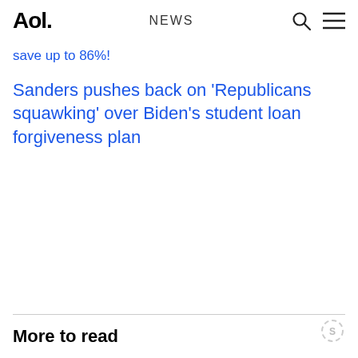Aol. NEWS
save up to 86%!
Sanders pushes back on 'Republicans squawking' over Biden's student loan forgiveness plan
More to read